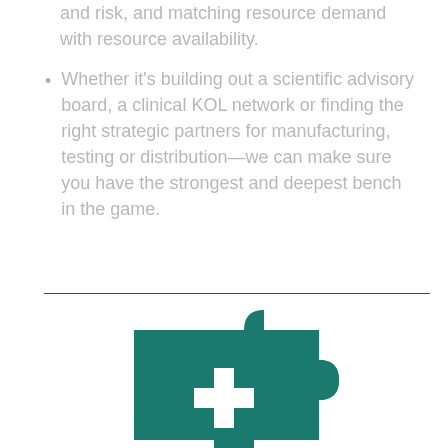and risk, and matching resource demand with resource availability.
Whether it's building out a scientific advisory board, a clinical KOL network or finding the right strategic partners for manufacturing, testing or distribution—we can make sure you have the strongest and deepest bench in the game.
[Figure (logo): Teal/dark green puzzle piece logo with a white plus/cross symbol in the center, partially cropped at bottom of page]